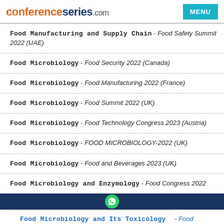conferenceseries.com | MENU
Food Manufacturing and Supply Chain - Food Safety Summit 2022 (UAE)
Food Microbiology - Food Security 2022 (Canada)
Food Microbiology - Food Manufacturing 2022 (France)
Food Microbiology - Food Summit 2022 (UK)
Food Microbiology - Food Technology Congress 2023 (Austria)
Food Microbiology - FOOD MICROBIOLOGY-2022 (UK)
Food Microbiology - Food and Beverages 2023 (UK)
Food Microbiology and Enzymology - Food Congress 2022
Food Microbiology and Its Toxicology - Food Chemistry